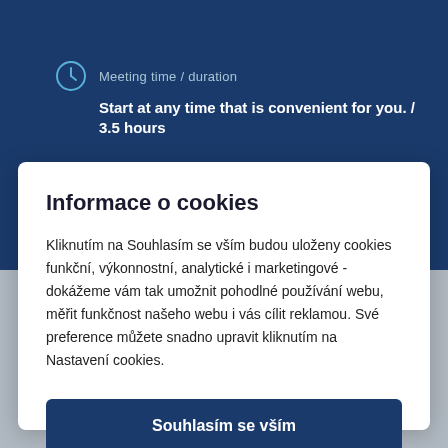Meeting time / duration
Start at any time that is convenient for you. / 3.5 hours
Informace o cookies
Kliknutím na Souhlasím se vším budou uloženy cookies funkční, výkonnostní, analytické i marketingové - dokážeme vám tak umožnit pohodlné používání webu, měřit funkčnost našeho webu i vás cílit reklamou. Své preference můžete snadno upravit kliknutím na Nastavení cookies.
Souhlasím se vším
Nastavení cookies